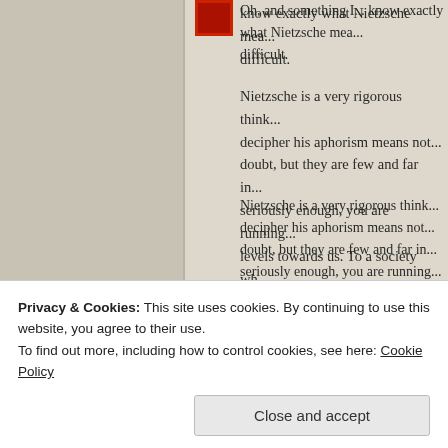Oh, and something I... know exactly what Nietzsche mea... difficult.
Nietzsche is a very rigorous think... decipher his aphorism means not... doubt, but they are few and far in... seriously enough, you are running... levels towards us. To a society wh... a GOD and cannot put it at stake...
★ Like
Reply ↓
Privacy & Cookies: This site uses cookies. By continuing to use this website, you agree to their use. To find out more, including how to control cookies, see here: Cookie Policy